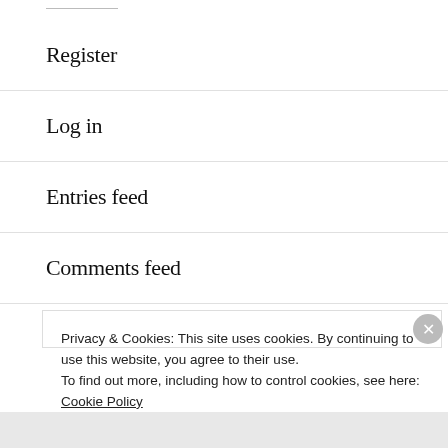Register
Log in
Entries feed
Comments feed
WordPress.com
Privacy & Cookies: This site uses cookies. By continuing to use this website, you agree to their use.
To find out more, including how to control cookies, see here: Cookie Policy
Close and accept